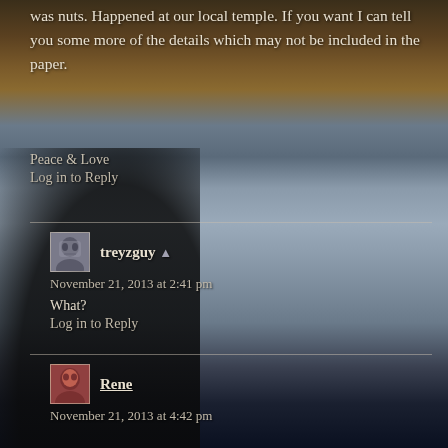was nuts. Happened at our local temple. If you want I can tell you some more of the details which may not be included in the paper.
Peace & Love
Log in to Reply
treyzguy
November 21, 2013 at 2:41 pm
What?
Log in to Reply
Rene
November 21, 2013 at 4:42 pm